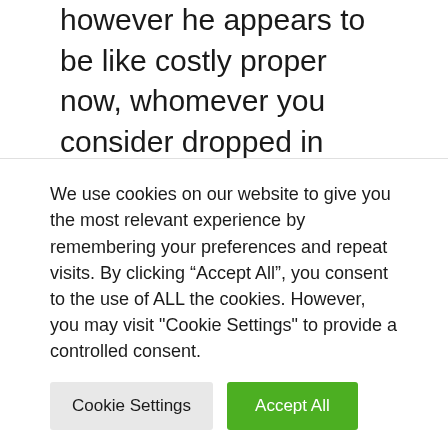however he appears to be like costly proper now, whomever you consider dropped in essentially the most to fund his journey with Andretti. Seven-figure sums to land a man who's at the moment solely twelfth within the championship, with a solitary podium end and three heavy crashes to his identify shouldn't be what anybody anticipated from this deal. Grosjean may win subsequent day trip at Mid-Ohio, or Toronto, or the second
We use cookies on our website to give you the most relevant experience by remembering your preferences and repeat visits. By clicking "Accept All", you consent to the use of ALL the cookies. However, you may visit "Cookie Settings" to provide a controlled consent.